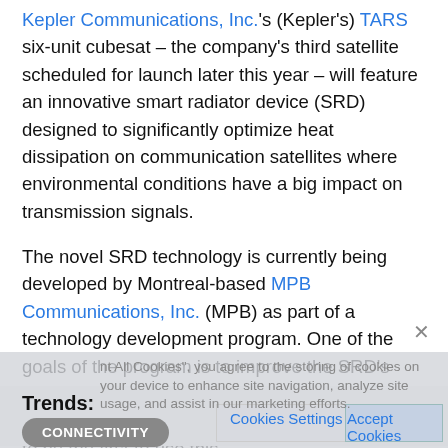Kepler Communications, Inc.'s (Kepler's) TARS six-unit cubesat – the company's third satellite scheduled for launch later this year – will feature an innovative smart radiator device (SRD) designed to significantly optimize heat dissipation on communication satellites where environmental conditions have a big impact on transmission signals.
The novel SRD technology is currently being developed by Montreal-based MPB Communications, Inc. (MPB) as part of a technology development program. One of the goals of the program is to improve the SRD's technology readiness level (TRL) by operating the unit in a space environment. Kepler intends to be the first to use this
Continue reading »
Trends:
CONNECTIVITY
Related: